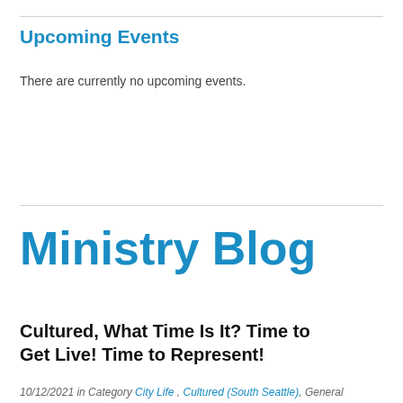Upcoming Events
There are currently no upcoming events.
Ministry Blog
Cultured, What Time Is It? Time to Get Live! Time to Represent!
10/12/2021 in Category City Life , Cultured (South Seattle), General